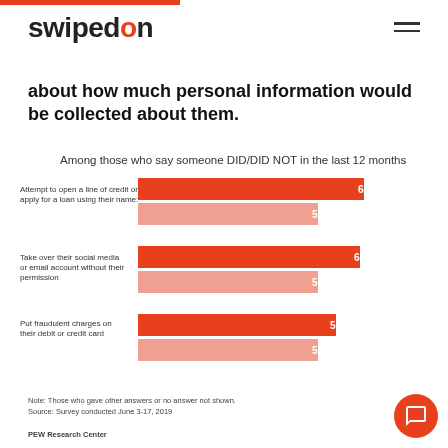swipedon
about how much personal information would be collected about them.
Among those who say someone DID/DID NOT in the last 12 months
[Figure (grouped-bar-chart): Among those who say someone DID/DID NOT in the last 12 months]
Note: Those who gave other answers or no answer not shown.
Source: Survey conducted June 3-17, 2019

PEW Research Center